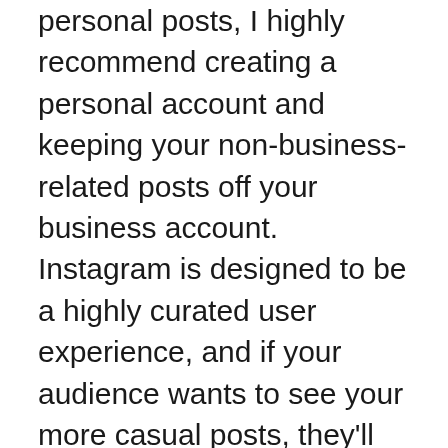personal posts, I highly recommend creating a personal account and keeping your non-business-related posts off your business account. Instagram is designed to be a highly curated user experience, and if your audience wants to see your more casual posts, they'll follow you there, too!
You should always be posting with a plan in mind. Are you calling your audience to action? Is your branding and message consistent? If it's too much trouble for you to make your Instagram page a dedicated place for people to quickly learn about your business and follow your journey, then it is